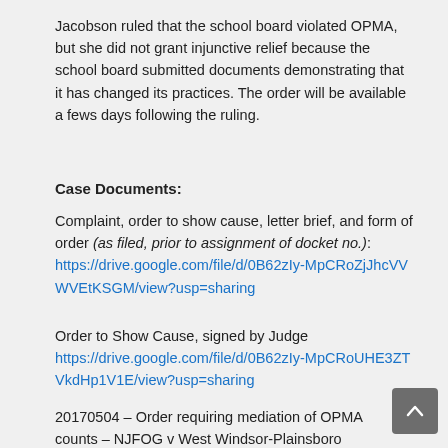Jacobson ruled that the school board violated OPMA, but she did not grant injunctive relief because the school board submitted documents demonstrating that it has changed its practices. The order will be available a fews days following the ruling.
Case Documents:
Complaint, order to show cause, letter brief, and form of order (as filed, prior to assignment of docket no.): https://drive.google.com/file/d/0B62zIy-MpCRoZjJhcVVWVEtKSGM/view?usp=sharing
Order to Show Cause, signed by Judge https://drive.google.com/file/d/0B62zIy-MpCRoUHE3ZTVkdHp1V1E/view?usp=sharing
20170504 – Order requiring mediation of OPMA counts – NJFOG v West Windsor-Plainsboro BOE https://drive.google.com/file/d/0B62z...